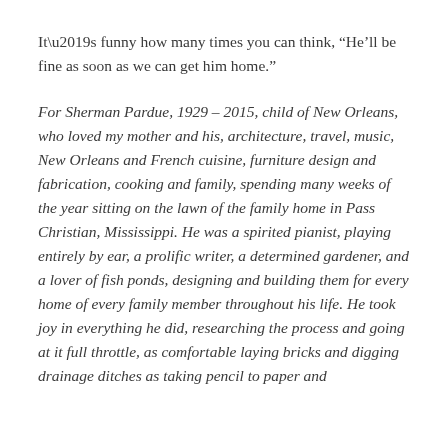It’s funny how many times you can think, “He’ll be fine as soon as we can get him home.”
For Sherman Pardue, 1929 – 2015, child of New Orleans, who loved my mother and his, architecture, travel, music, New Orleans and French cuisine, furniture design and fabrication, cooking and family, spending many weeks of the year sitting on the lawn of the family home in Pass Christian, Mississippi. He was a spirited pianist, playing entirely by ear, a prolific writer, a determined gardener, and a lover of fish ponds, designing and building them for every home of every family member throughout his life. He took joy in everything he did, researching the process and going at it full throttle, as comfortable laying bricks and digging drainage ditches as taking pencil to paper and